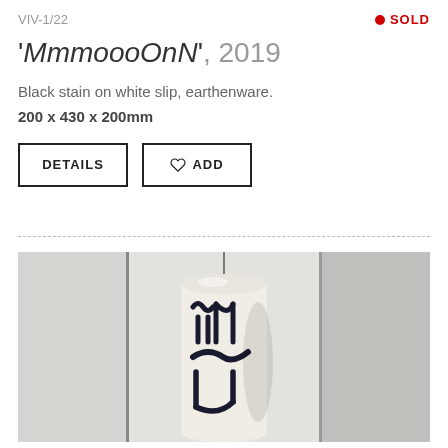VIV-1/22
SOLD
'MmmoooOnN', 2019
Black stain on white slip, earthenware.
200 x 430 x 200mm
[Figure (screenshot): A white cylindrical earthenware ceramic piece hung by a thin wire against a light grey panelled wall background, with black stain painted lettering visible on the surface.]